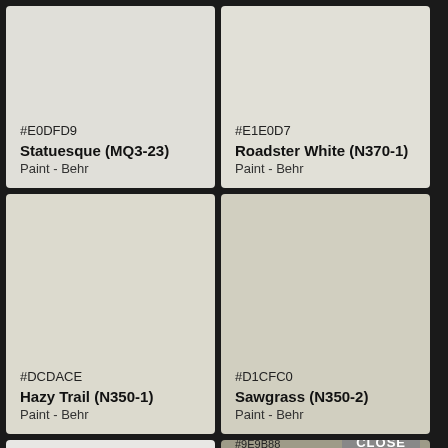[Figure (other): Color swatch: #E0DFD9 Statuesque (MQ3-23) Paint - Behr]
[Figure (other): Color swatch: #E1E0D7 Roadster White (N370-1) Paint - Behr]
[Figure (other): Color swatch: #DCDACE Hazy Trail (N350-1) Paint - Behr]
[Figure (other): Color swatch: #D1CFC0 Sawgrass (N350-2) Paint - Behr]
[Figure (other): Color swatch: #AAA794 (partial, bottom left)]
[Figure (other): Color swatch: #9E9B88 (partial, bottom right) with CLOSE button]